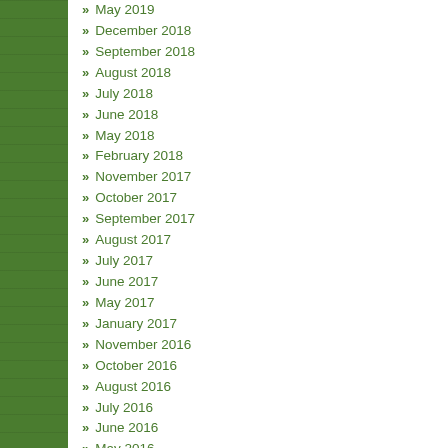May 2019
December 2018
September 2018
August 2018
July 2018
June 2018
May 2018
February 2018
November 2017
October 2017
September 2017
August 2017
July 2017
June 2017
May 2017
January 2017
November 2016
October 2016
August 2016
July 2016
June 2016
May 2016
April 2016
March 2016
February 2016
January 2016
December 2015
November 2015
October 2015
September 2015
August 2015
July 2015